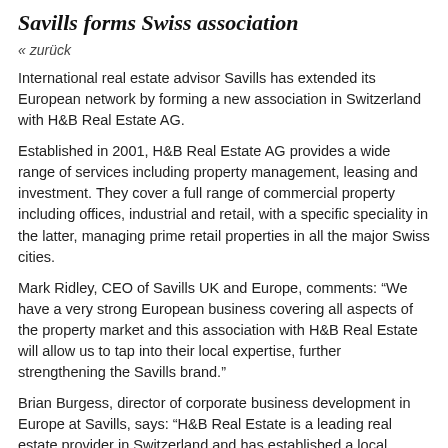Savills forms Swiss association
« zurück
International real estate advisor Savills has extended its European network by forming a new association in Switzerland with H&B Real Estate AG.
Established in 2001, H&B Real Estate AG provides a wide range of services including property management, leasing and investment. They cover a full range of commercial property including offices, industrial and retail, with a specific speciality in the latter, managing prime retail properties in all the major Swiss cities.
Mark Ridley, CEO of Savills UK and Europe, comments: “We have a very strong European business covering all aspects of the property market and this association with H&B Real Estate will allow us to tap into their local expertise, further strengthening the Savills brand.”
Brian Burgess, director of corporate business development in Europe at Savills, says: “H&B Real Estate is a leading real estate provider in Switzerland and has established a local reputation for providing a best in class service. We believe this association will therefore benefit both companies, allowing us to provide clients with the very best service and advice.”